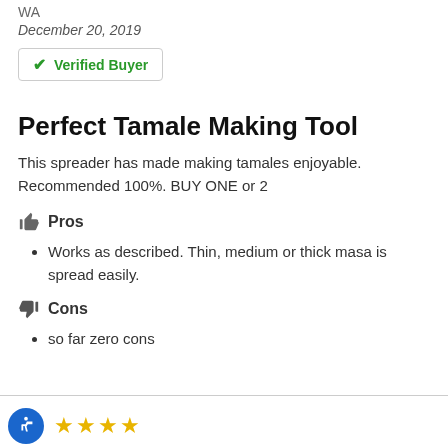WA
December 20, 2019
✓ Verified Buyer
Perfect Tamale Making Tool
This spreader has made making tamales enjoyable. Recommended 100%. BUY ONE or 2
👍 Pros
Works as described. Thin, medium or thick masa is spread easily.
👎 Cons
so far zero cons
[Figure (other): Accessibility icon (blue circle with person symbol) followed by 4 yellow star rating]